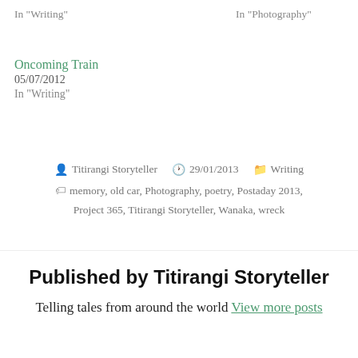In "Writing"   In "Photography"
Oncoming Train
05/07/2012
In "Writing"
Titirangi Storyteller  29/01/2013  Writing
memory, old car, Photography, poetry, Postaday 2013, Project 365, Titirangi Storyteller, Wanaka, wreck
Published by Titirangi Storyteller
Telling tales from around the world View more posts